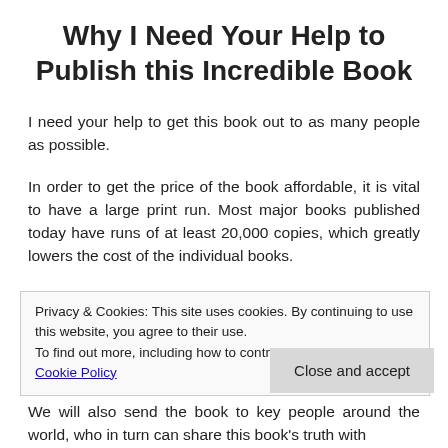Why I Need Your Help to Publish this Incredible Book
I need your help to get this book out to as many people as possible.
In order to get the price of the book affordable, it is vital to have a large print run. Most major books published today have runs of at least 20,000 copies, which greatly lowers the cost of the individual books.
Privacy & Cookies: This site uses cookies. By continuing to use this website, you agree to their use.
To find out more, including how to control cookies, see here: Cookie Policy
We will also send the book to key people around the world, who in turn can share this book's truth with